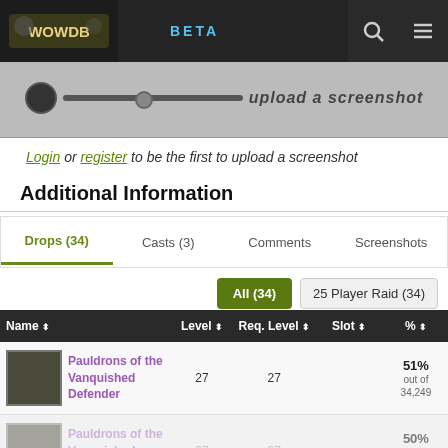WOWDB BETA
[Figure (screenshot): Screenshot banner with slider control]
Login or register to be the first to upload a screenshot
Additional Information
Drops (34) | Casts (3) | Comments | Screenshots
All (34) | 25 Player Raid (34)
| Name | Level | Req. Level | Slot | % |
| --- | --- | --- | --- | --- |
| Pauldrons of the Vanquished Defender | 27 | 27 |  | 51% out of 34,249 |
| Pauldrons of the Vanquished Hero | 27 | 27 |  | 50% out of 34,2... |